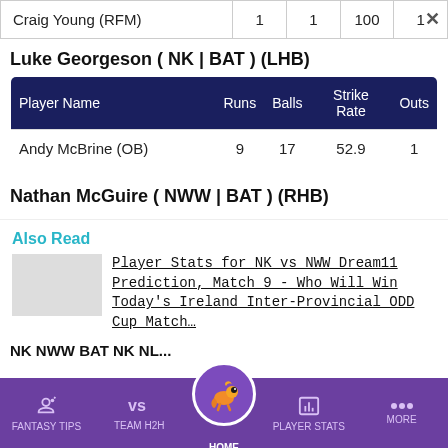| Player Name | Runs | Balls | Strike Rate | Outs |
| --- | --- | --- | --- | --- |
| Craig Young (RFM) | 1 | 1 | 100 | 1 |
Luke Georgeson ( NK | BAT ) (LHB)
| Player Name | Runs | Balls | Strike Rate | Outs |
| --- | --- | --- | --- | --- |
| Andy McBrine (OB) | 9 | 17 | 52.9 | 1 |
Nathan McGuire ( NWW | BAT ) (RHB)
Also Read
Player Stats for NK vs NWW Dream11 Prediction, Match 9 - Who Will Win Today's Ireland Inter-Provincial ODD Cup Match…
FANTASY TIPS | TEAM H2H | HOME | PLAYER STATS | MORE